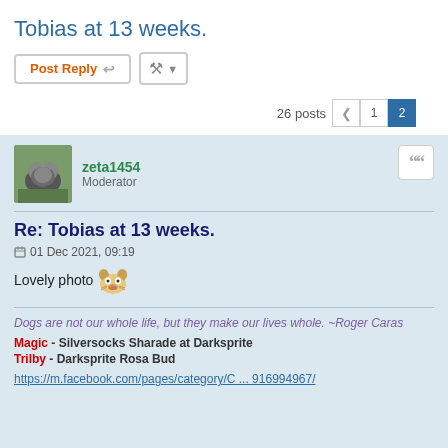Tobias at 13 weeks.
Post Reply | Tools
26 posts  < 1 2
zeta1454
Moderator
Re: Tobias at 13 weeks.
01 Dec 2021, 09:19
Lovely photo 🐶
Dogs are not our whole life, but they make our lives whole. ~Roger Caras
Magic - Silversocks Sharade at Darksprite
Trilby - Darksprite Rosa Bud
https://m.facebook.com/pages/category/C ... 916994967/